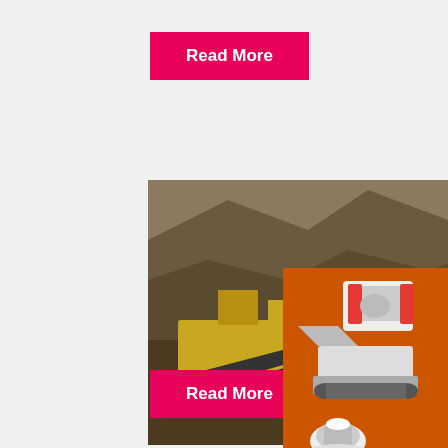Read More
[Figure (photo): Aerial view of a portable crusher machine in a quarry/mining site with yellow equipment and conveyor belt on rocky terrain]
Crusher Portable
2021-11-8   The Terex® Finlay J-1280 Mobile Hy...
[Figure (infographic): Orange sidebar advertisement showing mining/crushing equipment images (jaw crusher, mobile crusher, cone crusher), 'Enjoy 3% discount', 'Click to Chat' buttons, Enquiry link, and limingjlmofen@sina.com email]
Read More